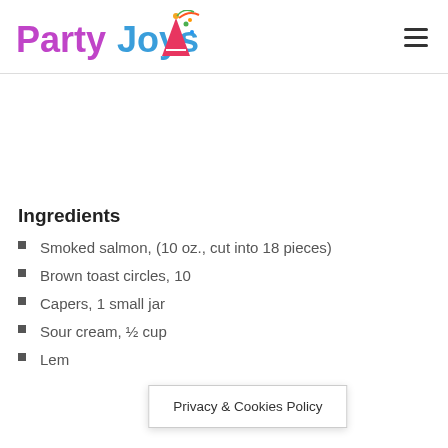PartyJoys
[Figure (logo): PartyJoys logo with party hat icon. 'Party' in purple, 'Joys' in blue, with a colorful party hat/confetti graphic.]
Ingredients
Smoked salmon, (10 oz., cut into 18 pieces)
Brown toast circles, 10
Capers, 1 small jar
Sour cream, ½ cup
Lem…
Privacy & Cookies Policy